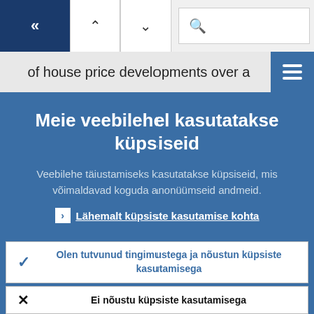[Figure (screenshot): Navigation bar with back button (double left arrow), up/down arrows, and search icon]
of house price developments over a
Meie veebilehel kasutatakse küpsiseid
Veebilehe täiustamiseks kasutatakse küpsiseid, mis võimaldavad koguda anonüümseid andmeid.
› Lähemalt küpsiste kasutamise kohta
✓ Olen tutvunud tingimustega ja nõustun küpsiste kasutamisega
✕ Ei nõustu küpsiste kasutamisega